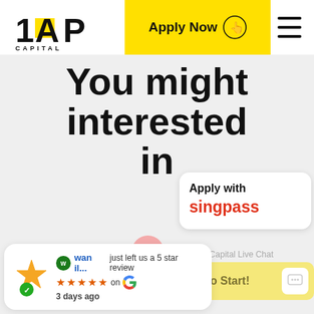[Figure (logo): 1AP Capital logo with yellow accent block and CAPITAL text below]
[Figure (screenshot): Apply Now button with hand/click icon on yellow background]
[Figure (screenshot): Hamburger menu icon (three horizontal lines)]
You might interested in
[Figure (screenshot): Apply with Singpass card widget, white rounded card with red Singpass branding]
[Figure (screenshot): Pink close/X button circle]
1AP Capital Live Chat
[Figure (screenshot): Yellow chat button with Click to Start! text and chat icon]
[Figure (screenshot): Google review card: wan il... just left us a 5 star review, 5 orange stars on Google, 3 days ago, with star icon and green checkmark]